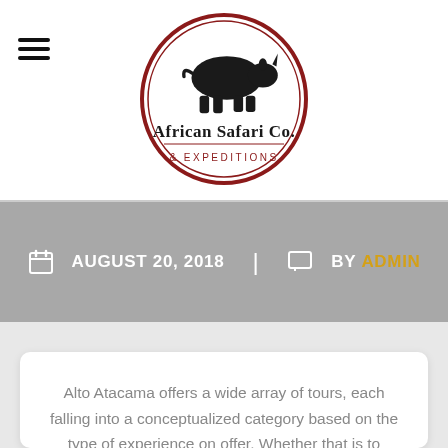[Figure (logo): African Safari Co. & Expeditions logo: oval dark red border with silhouette of a rhinoceros on top and text 'African Safari Co. & Expeditions' inside]
AUGUST 20, 2018  |  BY ADMIN
Alto Atacama offers a wide array of tours, each falling into a conceptualized category based on the type of experience on offer. Whether that is to contemplate, to seek adventure, cultural heritage, gastronomy, astronomical enlightenment and so on. Alto Atacama has over 30 different tours and excursions to choose from. Guests can connect with the